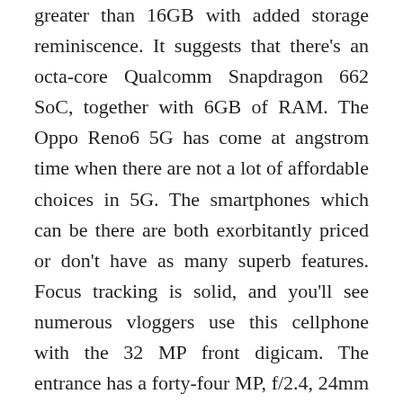greater than 16GB with added storage reminiscence. It suggests that there's an octa-core Qualcomm Snapdragon 662 SoC, together with 6GB of RAM. The Oppo Reno6 5G has come at angstrom time when there are not a lot of affordable choices in 5G. The smartphones which can be there are both exorbitantly priced or don't have as many superb features. Focus tracking is solid, and you'll see numerous vloggers use this cellphone with the 32 MP front digicam. The entrance has a forty-four MP, f/2.4, 24mm (large) selfie sensor. OPPO has slotted in a 50MP AI quad-digital camera matrix on the back, a 32MP selfie digital